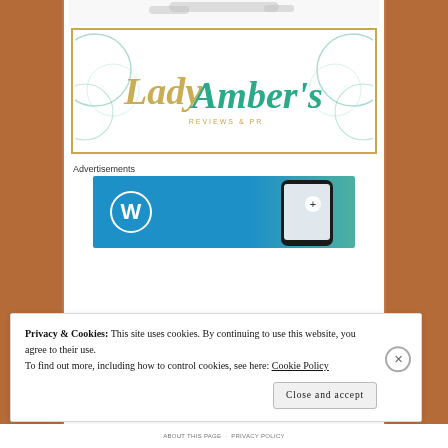[Figure (logo): Lady Amber's Reviews & PR logo in a gold-bordered rectangle with teal circle decorations on left and right. 'Lady' in gold script, 'Amber's' in teal script, 'REVIEWS & PR' in small gold caps below.]
Advertisements
[Figure (screenshot): WordPress.com advertisement banner with blue background, WordPress logo (W in circle) on left and a phone mockup on the right.]
Privacy & Cookies: This site uses cookies. By continuing to use this website, you agree to their use.
To find out more, including how to control cookies, see here: Cookie Policy
Close and accept